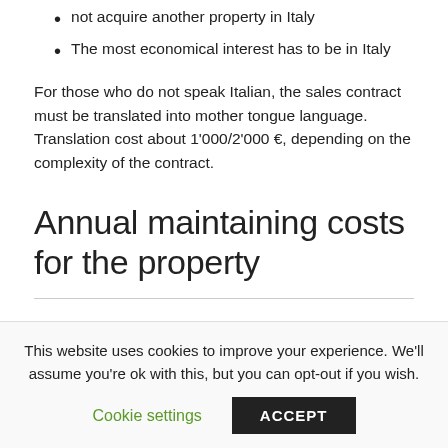not acquire another property in Italy
The most economical interest has to be in Italy
For those who do not speak Italian, the sales contract must be translated into mother tongue language. Translation cost about 1'000/2'000 €, depending on the complexity of the contract.
Annual maintaining costs for the property
The annual cost of maintaining the property:
This website uses cookies to improve your experience. We'll assume you're ok with this, but you can opt-out if you wish.